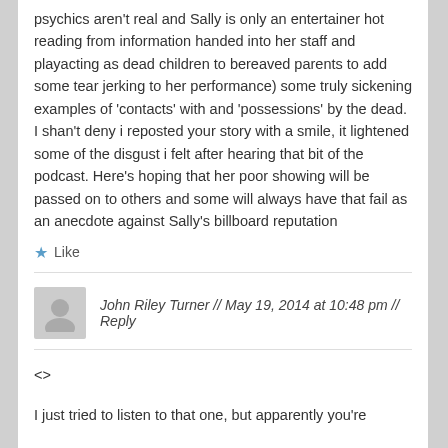psychics aren't real and Sally is only an entertainer hot reading from information handed into her staff and playacting as dead children to bereaved parents to add some tear jerking to her performance) some truly sickening examples of 'contacts' with and 'possessions' by the dead.
I shan't deny i reposted your story with a smile, it lightened some of the disgust i felt after hearing that bit of the podcast. Here's hoping that her poor showing will be passed on to others and some will always have that fail as an anecdote against Sally's billboard reputation
Like
John Riley Turner // May 19, 2014 at 10:48 pm // Reply
<>
I just tried to listen to that one, but apparently you're